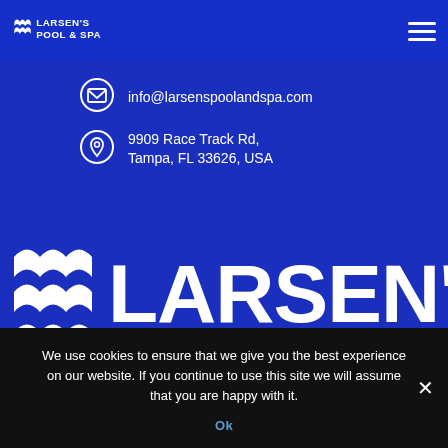Larsen's Pool & Spa — navigation header with logo and hamburger menu
info@larsenspoolandspa.com
9909 Race Track Rd, Tampa, FL 33626, USA
[Figure (logo): Large Larsen's Pool & Spa logo in white on blue background]
We use cookies to ensure that we give you the best experience on our website. If you continue to use this site we will assume that you are happy with it.
Ok